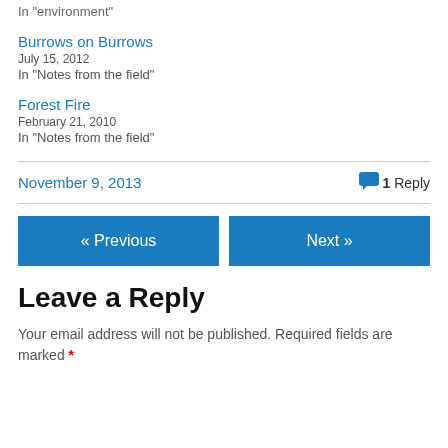In "environment"
Burrows on Burrows
July 15, 2012
In "Notes from the field"
Forest Fire
February 21, 2010
In "Notes from the field"
November 9, 2013
1 Reply
« Previous
Next »
Leave a Reply
Your email address will not be published. Required fields are marked *